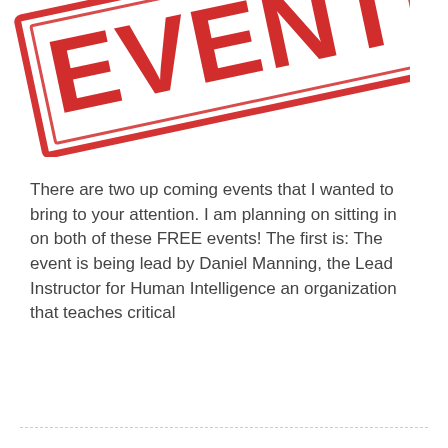[Figure (illustration): Red rubber stamp graphic with the word EVENT in large bold red letters, rotated slightly counterclockwise, with a rectangular border outline]
There are two up coming events that I wanted to bring to your attention. I am planning on sitting in on both of these FREE events! The first is: The event is being lead by Daniel Manning, the Lead Instructor for Human Intelligence an organization that teaches critical
READ MORE